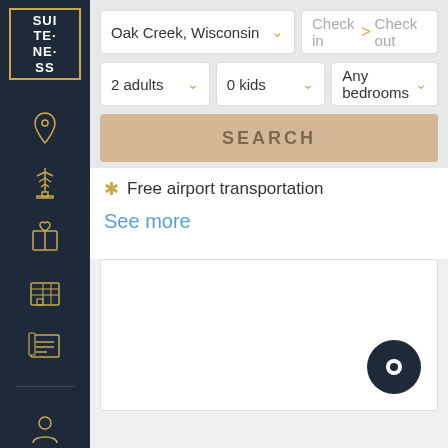[Figure (logo): Suiteness logo in gold border on dark navy sidebar]
[Figure (illustration): Location pin icon (gold outline on dark sidebar)]
[Figure (illustration): Tower/antenna icon (gold outline on dark sidebar)]
[Figure (illustration): Gift box icon (gold outline on dark sidebar)]
[Figure (illustration): Building/hotel grid icon (gold outline on dark sidebar)]
[Figure (illustration): List/calendar icon (gold outline on dark sidebar)]
[Figure (illustration): Person/profile icon (gold outline on dark sidebar)]
[Figure (screenshot): Search bar UI with Oak Creek Wisconsin location, check in/check out fields, 2 adults, 0 kids, Any bedrooms, SEARCH button]
Free airport transportation
See more
[Figure (map): Map area (blank white) with dark chat button in bottom right]